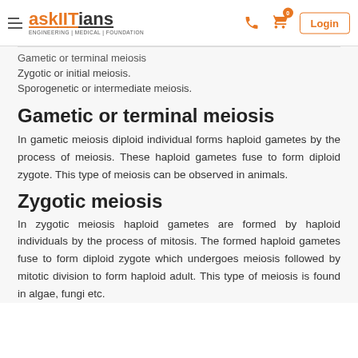askIITians ENGINEERING | MEDICAL | FOUNDATION — Login
Gametic or terminal meiosis
Zygotic or initial meiosis.
Sporogenetic or intermediate meiosis.
Gametic or terminal meiosis
In gametic meiosis diploid individual forms haploid gametes by the process of meiosis. These haploid gametes fuse to form diploid zygote. This type of meiosis can be observed in animals.
Zygotic meiosis
In zygotic meiosis haploid gametes are formed by haploid individuals by the process of mitosis. The formed haploid gametes fuse to form diploid zygote which undergoes meiosis followed by mitotic division to form haploid adult. This type of meiosis is found in algae, fungi etc.